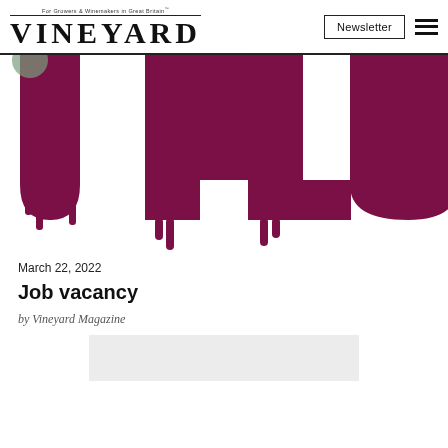VINEYARD — Newsletter [hamburger menu]
[Figure (logo): Large decorative 'W' lettermark logo in dark maroon/burgundy color, stylized with finger-like drips hanging down, resembling a wine-related brand mark for Vineyard Magazine]
March 22, 2022
Job vacancy
by Vineyard Magazine
[Figure (other): Light grey rectangular advertisement or image placeholder box at bottom of page]